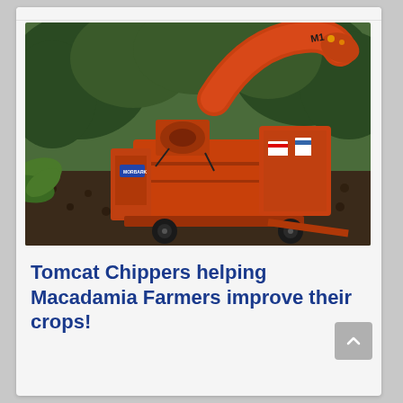[Figure (photo): Orange Tomcat wood chipper machine parked in a macadamia orchard with trees and dark mulch/wood chips on the ground. The machine is large, red-orange colored with a curved chute at the top labeled M1.]
Tomcat Chippers helping Macadamia Farmers improve their crops!